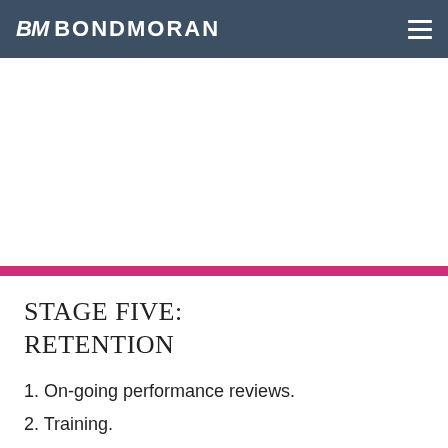BM BONDMORAN
STAGE FIVE:
RETENTION
1. On-going performance reviews.
2. Training.
3. Incentives and rewards.